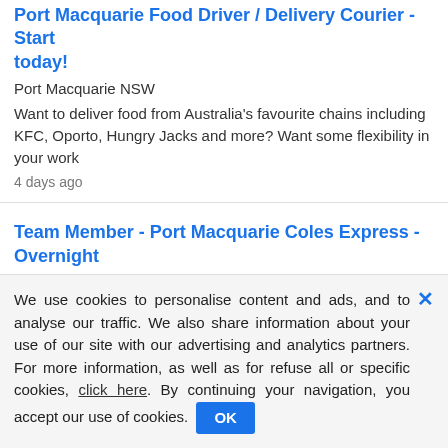Port Macquarie Food Driver / Delivery Courier - Start today!
Port Macquarie NSW
Want to deliver food from Australia's favourite chains including KFC, Oporto, Hungry Jacks and more? Want some flexibility in your work
4 days ago
Team Member - Port Macquarie Coles Express - Overnight
Coles  -  Port Macquarie NSW
It takes the connection of team members in many different roles to run more than 800 supermarkets across Australia. Whether you're in-store
careerone.com.au  -  3 days ago
Christmas Fixed Part Time Member
We use cookies to personalise content and ads, and to analyse our traffic. We also share information about your use of our site with our advertising and analytics partners. For more information, as well as for refuse all or specific cookies, click here. By continuing your navigation, you accept our use of cookies.